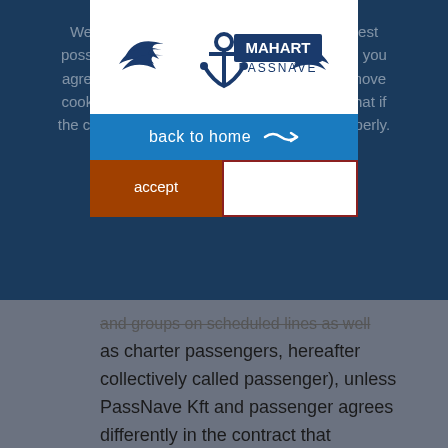We use cookies to provide the best possible experience. By clicking the button you agree to the use of cookies. You can remove cookies from your browser at any time. Note that if the cookies are disabled, the site may not work properly.
[Figure (logo): MAHART PASSNAVE logo with anchor and wings graphic]
back to home →
accept
nem fogadom el
and groups on scheduled lines as well as charter passengers, hereafter collectively called passenger), unless PassNave Kft and passenger agrees differently in the contract that governs their legal relationship. Passenger transportation by PassNave Kft is regulated by the Civil Code of the